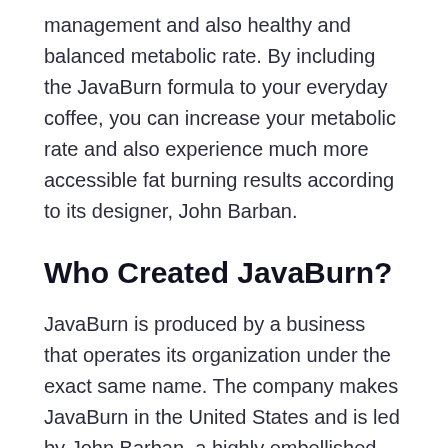management and also healthy and balanced metabolic rate. By including the JavaBurn formula to your everyday coffee, you can increase your metabolic rate and also experience much more accessible fat burning results according to its designer, John Barban.
Who Created JavaBurn?
JavaBurn is produced by a business that operates its organization under the exact same name. The company makes JavaBurn in the United States and is led by John Barban, a highly embellished health and wellness and wellness supporter with varying degrees and also honors on the planet of fitness, metabolism and supplements. After years of